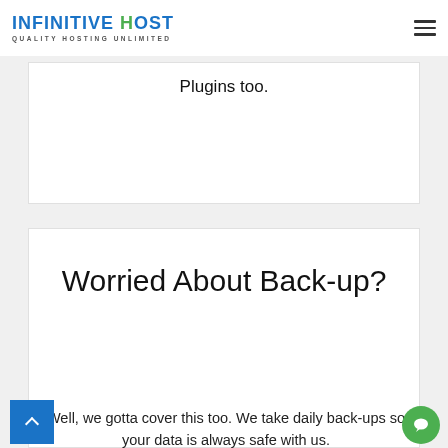INFINITIVE HOST — QUALITY HOSTING UNLIMITED
Plugins too.
Worried About Back-up?
Well, we gotta cover this too. We take daily back-ups so your data is always safe with us.